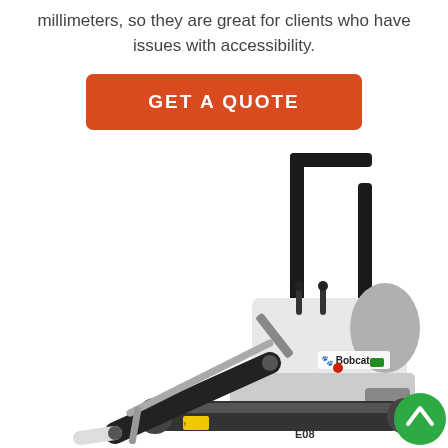millimeters, so they are great for clients who have issues with accessibility.
[Figure (other): Orange rounded rectangle button with white bold uppercase text reading GET A QUOTE]
[Figure (photo): Photo of a Bobcat E08 mini excavator with white body, black arm and ROPS frame, shown on white background. A green circular back-to-top arrow button appears in the bottom right corner.]